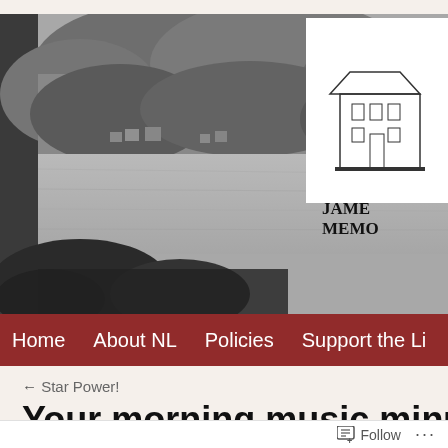[Figure (screenshot): Website header image showing a black and white landscape photo of a lake or river with hills/trees in the background. In the upper right corner is a white box with a line drawing of a building facade and partial text 'JAME' and 'MEMO' (James Memorial Library logo). A dark gray/black bar is on the left edge of the image.]
Home   About NL   Policies   Support the Li
← Star Power!
Your morning music minute
Follow   ...